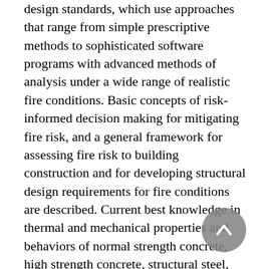design standards, which use approaches that range from simple prescriptive methods to sophisticated software programs with advanced methods of analysis under a wide range of realistic fire conditions. Basic concepts of risk-informed decision making for mitigating fire risk, and a general framework for assessing fire risk to building construction and for developing structural design requirements for fire conditions are described. Current best knowledge in thermal and mechanical properties and behaviors of normal strength concrete, high strength concrete, structural steel, and several major groups of common fire protection materials at elevated temperatures, which are necessary for performance-based engineering calculation, are presented. Modern fire-resistant design methodologies for concrete and steel structures are discussed, including methods based on standard fire tests as well as performance-based engineering analysis methods that involve heat transfer and structural analysis at elevated temperatures. This report is